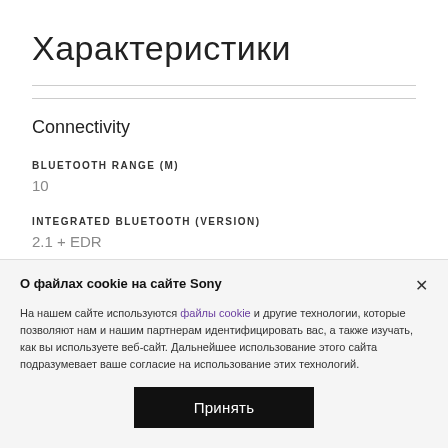Характеристики
Connectivity
BLUETOOTH RANGE (M)
10
INTEGRATED BLUETOOTH (VERSION)
2.1 + EDR
О файлах cookie на сайте Sony
На нашем сайте используются файлы cookie и другие технологии, которые позволяют нам и нашим партнерам идентифицировать вас, а также изучать, как вы используете веб-сайт. Дальнейшее использование этого сайта подразумевает ваше согласие на использование этих технологий.
Принять